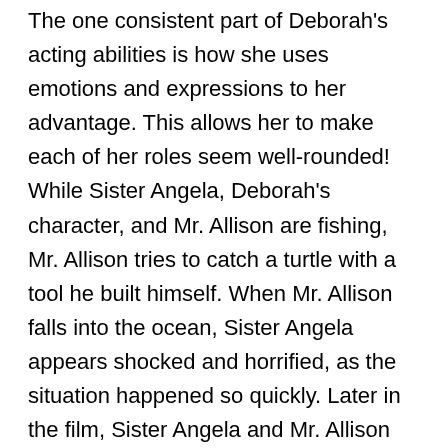The one consistent part of Deborah's acting abilities is how she uses emotions and expressions to her advantage. This allows her to make each of her roles seem well-rounded! While Sister Angela, Deborah's character, and Mr. Allison are fishing, Mr. Allison tries to catch a turtle with a tool he built himself. When Mr. Allison falls into the ocean, Sister Angela appears shocked and horrified, as the situation happened so quickly. Later in the film, Sister Angela and Mr. Allison are discussing their plans if they leave the island. As Mr. Allison is talking about how he has grown closer to Sister Angela, tears can be seen forming in Sister Angela's eyes. Deborah's face in that scene said so much more than dialogue could.